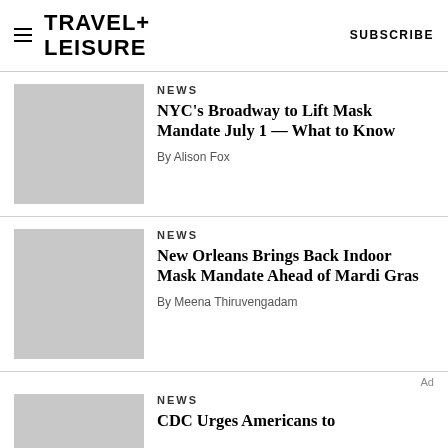TRAVEL+ LEISURE   SUBSCRIBE
NEWS
NYC's Broadway to Lift Mask Mandate July 1 — What to Know
By Alison Fox
NEWS
New Orleans Brings Back Indoor Mask Mandate Ahead of Mardi Gras
By Meena Thiruvengadam
Ad
NEWS
CDC Urges Americans to